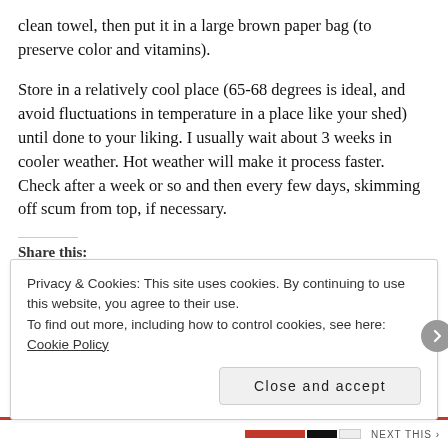clean towel, then put it in a large brown paper bag (to preserve color and vitamins).
Store in a relatively cool place (65-68 degrees is ideal, and avoid fluctuations in temperature in a place like your shed) until done to your liking. I usually wait about 3 weeks in cooler weather. Hot weather will make it process faster. Check after a week or so and then every few days, skimming off scum from top, if necessary.
Share this:
Privacy & Cookies: This site uses cookies. By continuing to use this website, you agree to their use.
To find out more, including how to control cookies, see here: Cookie Policy
Close and accept